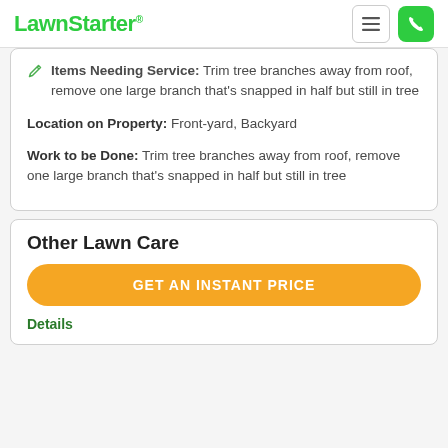LawnStarter
Items Needing Service: Trim tree branches away from roof, remove one large branch that's snapped in half but still in tree
Location on Property: Front-yard, Backyard
Work to be Done: Trim tree branches away from roof, remove one large branch that's snapped in half but still in tree
Other Lawn Care
GET AN INSTANT PRICE
Details